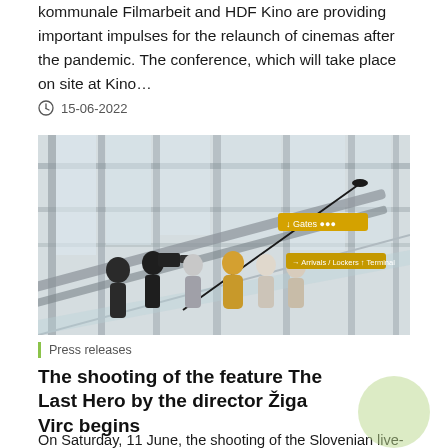kommunale Filmarbeit and HDF Kino are providing important impulses for the relaunch of cinemas after the pandemic. The conference, which will take place on site at Kino…
15-06-2022
[Figure (photo): Film crew with camera and boom microphone on an escalator in a large glass-walled building, filming several people.]
Press releases
The shooting of the feature The Last Hero by the director Žiga Virc begins
On Saturday, 11 June, the shooting of the Slovenian live-